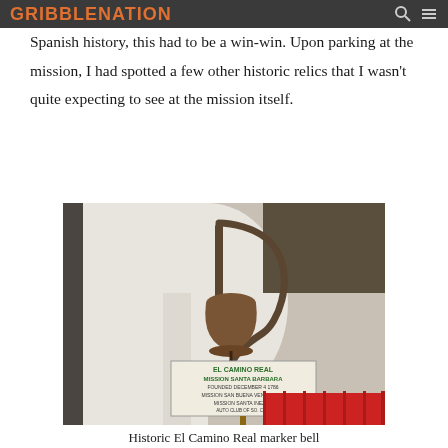GRIBBLENATION
Spanish history, this had to be a win-win. Upon parking at the mission, I had spotted a few other historic relics that I wasn't quite expecting to see at the mission itself.
[Figure (photo): Historic El Camino Real marker bell mounted on a curved iron post in front of a white mission wall, with a sign reading EL CAMINO REAL / MISSION SANTA BARBARA / FOUNDED DECEMBER 4 1786 / MISSION SAN BUENA VENTURA 30 / MISSION SANTA INEZ 46 / AUTO CLUB OF SO. CAL.]
Historic El Camino Real marker bell